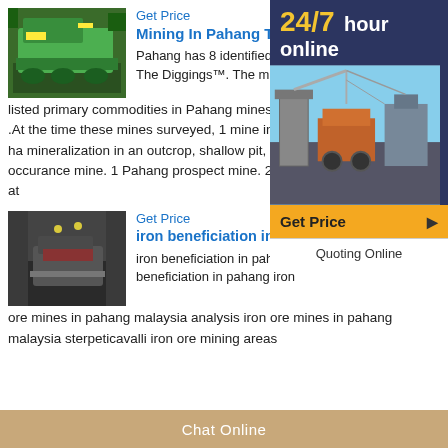Get Price
Mining In Pahang The Diggings™
Pahang has 8 identified mines listed in The Diggings™. The most commonly listed primary commodities in Pahang mines are Manganese , and Gold .At the time these mines were surveyed, 1 mine in Pahang was observed to have mineralization in an outcrop, shallow pit, or isolated drill hole—known as an occurance mine. 1 Pahang mine is a prospect mine. 2 5 mines were in production at
[Figure (photo): Green mining equipment/machine on tracks]
[Figure (photo): Industrial mining machinery with orange and grey colors]
Get Price
iron beneficiation in pahang
iron beneficiation in pahang Eiscafé Kind. iron beneficiation in pahang iron ore mines in pahang malaysia analysis iron ore mines in pahang malaysia sterpeticavalli iron ore mining areas
[Figure (photo): Underground or industrial mining equipment in dark setting]
24/7 hour online
Get Price
Quoting Online
Chat Online